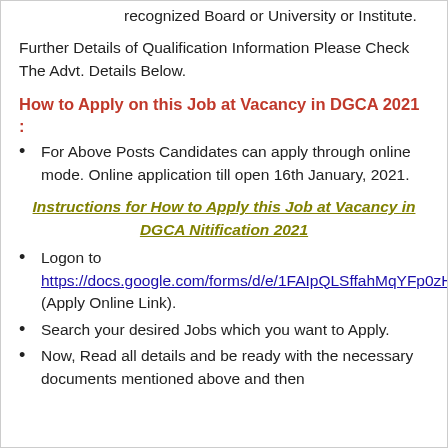recognized Board or University or Institute.
Further Details of Qualification Information Please Check The Advt. Details Below.
How to Apply on this Job at Vacancy in DGCA 2021 :
For Above Posts Candidates can apply through online mode. Online application till open 16th January, 2021.
Instructions for How to Apply this Job at Vacancy in DGCA Nitification 2021
Logon to https://docs.google.com/forms/d/e/1FAIpQLSffahMqYFp0zHGj5RAXILydNBODCiqn7aORaJOaIJVJ5dw4Aw/viewform (Apply Online Link).
Search your desired Jobs which you want to Apply.
Now, Read all details and be ready with the necessary documents mentioned above and then